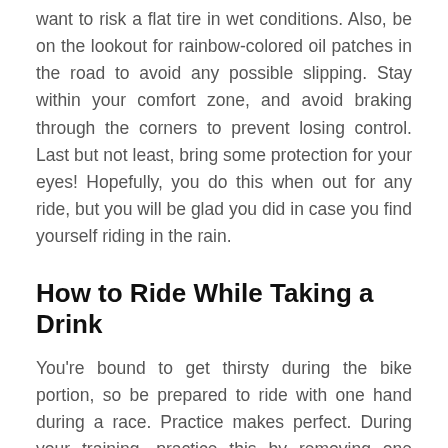want to risk a flat tire in wet conditions. Also, be on the lookout for rainbow-colored oil patches in the road to avoid any possible slipping. Stay within your comfort zone, and avoid braking through the corners to prevent losing control. Last but not least, bring some protection for your eyes! Hopefully, you do this when out for any ride, but you will be glad you did in case you find yourself riding in the rain.
How to Ride While Taking a Drink
You're bound to get thirsty during the bike portion, so be prepared to ride with one hand during a race. Practice makes perfect. During your training, practice this by removing one hand at a time to build up your confidence. Start with shorter distances, and before you know it you'll be a pro at riding with one hand. This skill will allow you to eat,